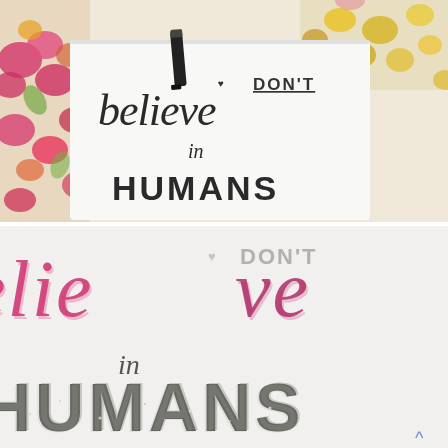[Figure (photo): Top photo: A white fabric/t-shirt laid on a floral fabric background, with a black marker resting on it. Hand-lettered text on the white fabric reads 'DON'T believe in HUMANS' in dark ink.]
[Figure (photo): Bottom photo: Close-up of a different version of the same t-shirt, showing the text 'DON'T believe in HUMANS' where 'believe' is written in pink/magenta script and 'HUMANS' uses glittery/sparkly dark letters. The image is slightly blurred/out of focus.]